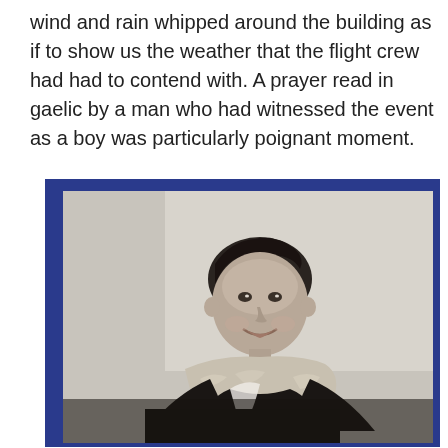wind and rain whipped around the building as if to show us the weather that the flight crew had had to contend with. A prayer read in gaelic by a man who had witnessed the event as a boy was particularly poignant moment.
[Figure (photo): A black and white photograph of a young boy smiling, wearing a dark coat with a fur collar, displayed inside a blue-bordered frame or book page.]